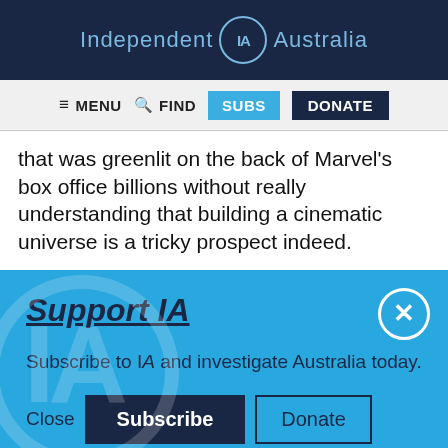Independent IA Australia
[Figure (screenshot): Navigation bar with MENU, FIND, SUBS, DONATE buttons]
that was greenlit on the back of Marvel's box office billions without really understanding that building a cinematic universe is a tricky prospect indeed.
Support IA
Subscribe to IA and investigate Australia today.
Close  Subscribe  Donate
Social icons: Twitter, Facebook, LinkedIn, Flipboard, Share, More